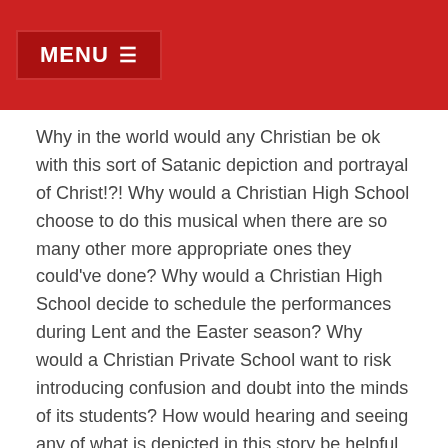MENU ☰
Why in the world would any Christian be ok with this sort of Satanic depiction and portrayal of Christ!?! Why would a Christian High School choose to do this musical when there are so many other more appropriate ones they could've done? Why would a Christian High School decide to schedule the performances during Lent and the Easter season? Why would a Christian Private School want to risk introducing confusion and doubt into the minds of its students? How would hearing and seeing any of what is depicted in this story be helpful to these influential hearts and minds of such little ones entrusted to their care? What would be the desired benefits? What did they hope to get out of going to see such a performance like that?
If I were to really try to put the best construction on things, then perhaps the educators at the school intended to take some